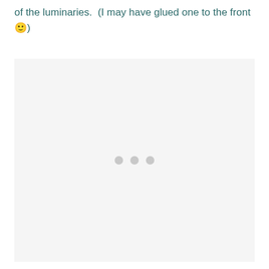of the luminaries.  (I may have glued one to the front 🙂)
[Figure (photo): Loading placeholder with three grey dots on a light grey background]